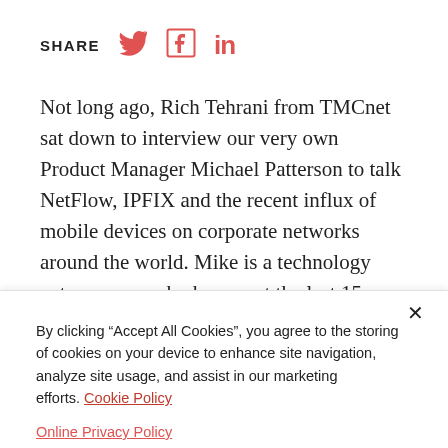SHARE [Twitter] [Facebook] [LinkedIn]
Not long ago, Rich Tehrani from TMCnet sat down to interview our very own Product Manager Michael Patterson to talk NetFlow, IPFIX and the recent influx of mobile devices on corporate networks around the world. Mike is a technology entrepreneur who has spent the last 15 years chasing his passion of designing and
By clicking “Accept All Cookies”, you agree to the storing of cookies on your device to enhance site navigation, analyze site usage, and assist in our marketing efforts. Cookie Policy
Online Privacy Policy